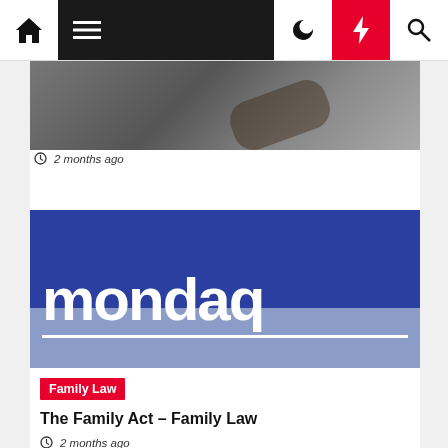mondaq navigation bar with home, menu, dark mode, lightning, and search icons
[Figure (photo): Partially visible article card showing a person's hands, with timestamp '2 months ago']
2 months ago
[Figure (logo): Mondaq logo on blue background with 'Family Law' red tag badge]
The Family Act – Family Law
2 months ago